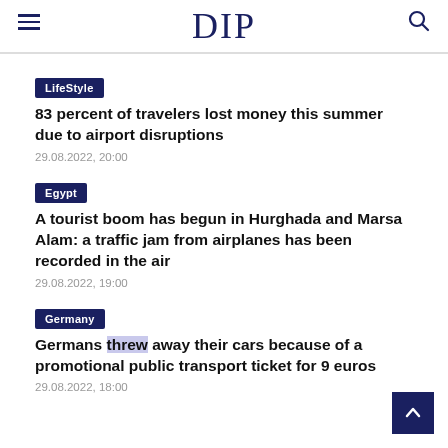DIP
LifeStyle
83 percent of travelers lost money this summer due to airport disruptions
29.08.2022, 20:00
Egypt
A tourist boom has begun in Hurghada and Marsa Alam: a traffic jam from airplanes has been recorded in the air
29.08.2022, 19:00
Germany
Germans threw away their cars because of a promotional public transport ticket for 9 euros
29.08.2022, 18:00